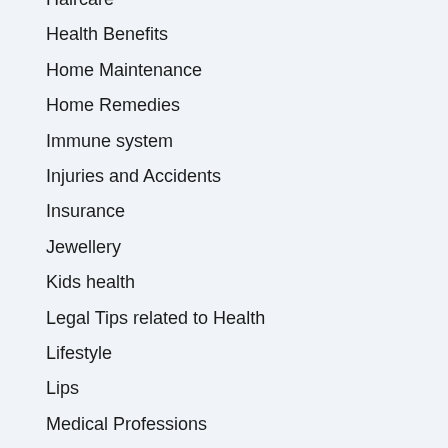Haircare
Health Benefits
Home Maintenance
Home Remedies
Immune system
Injuries and Accidents
Insurance
Jewellery
Kids health
Legal Tips related to Health
Lifestyle
Lips
Medical Professions
Men's Health